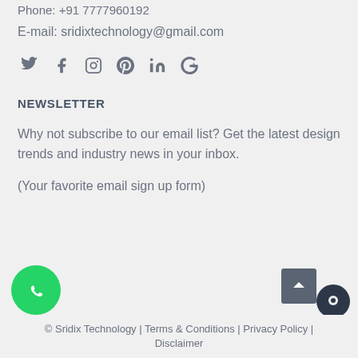Phone: +91 7777960192
E-mail: sridixtechnology@gmail.com
[Figure (infographic): Social media icons: Twitter, Facebook, Instagram, Pinterest, LinkedIn, Google+]
NEWSLETTER
Why not subscribe to our email list? Get the latest design trends and industry news in your inbox.
(Your favorite email sign up form)
© Sridix Technology | Terms & Conditions | Privacy Policy | Disclaimer